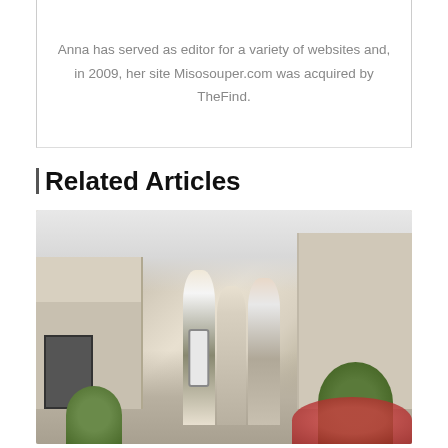Anna has served as editor for a variety of websites and, in 2009, her site Misosouper.com was acquired by TheFind.
Related Articles
[Figure (photo): Three people standing on a cobblestone mews street lined with townhouses and greenery, looking at a tablet device together. Two women and one man.]